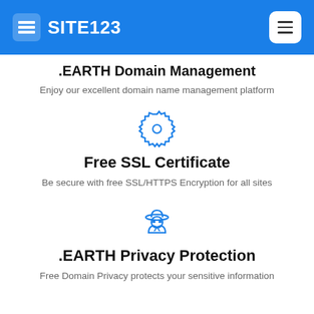SITE123
.EARTH Domain Management
Enjoy our excellent domain name management platform
[Figure (illustration): Blue gear/badge icon representing SSL certificate]
Free SSL Certificate
Be secure with free SSL/HTTPS Encryption for all sites
[Figure (illustration): Blue incognito/privacy person icon with hat]
.EARTH Privacy Protection
Free Domain Privacy protects your sensitive information